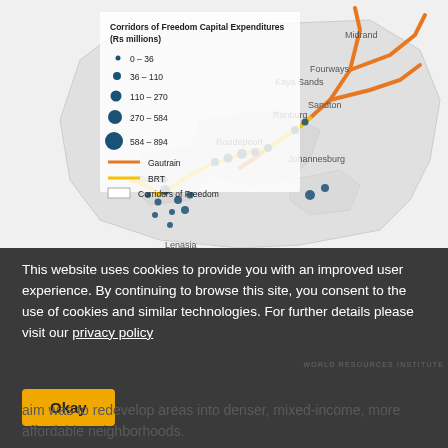[Figure (map): Map of Johannesburg showing Corridors of Freedom Capital Expenditures in Rs millions. Legend shows bubble sizes: 0-36, 36-110, 110-270, 270-584, 584-894. Lines show Gautrain (orange), BRT (yellow), and Corridors of Freedom (white rectangle). Map shows locations including Midrand, Fourways, Kaya Sands, Ranburg, Sandton, Roodepoort, Johannesburg, Soweto, Lenasia.]
This website uses cookies to provide you with an improved user experience. By continuing to browse this site, you consent to the use of cookies and similar technologies. For further details please visit our privacy policy
aim was to redevelop areas into denser, mixed-income, more affordable neighborhoods.